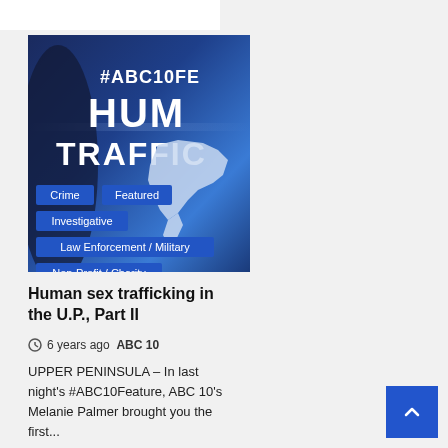[Figure (screenshot): News article thumbnail image showing text '#ABC10FE' and 'HUM TRAFFIC' with category tags: Crime, Featured, Investigative, Law Enforcement / Military, Non-Profit / Charity overlaid on a blue gradient background with a map silhouette]
Human sex trafficking in the U.P., Part II
6 years ago  ABC 10
UPPER PENINSULA – In last night's #ABC10Feature, ABC 10's Melanie Palmer brought you the first...